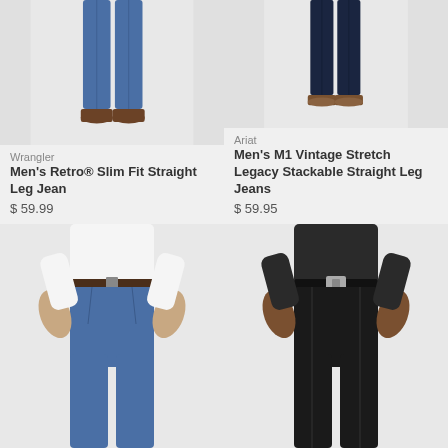[Figure (photo): Lower body of man wearing medium blue Wrangler slim fit straight leg jeans with brown leather boots]
Wrangler
Men's Retro® Slim Fit Straight Leg Jean
$ 59.99
[Figure (photo): Lower body of man wearing dark navy Ariat straight leg jeans with brown leather shoes]
Ariat
Men's M1 Vintage Stretch Legacy Stackable Straight Leg Jeans
$ 59.95
[Figure (photo): Torso and legs of man wearing blue jeans with brown belt and white shirt, hands on hips]
[Figure (photo): Torso and legs of man wearing black jeans with black belt, hands on hips]